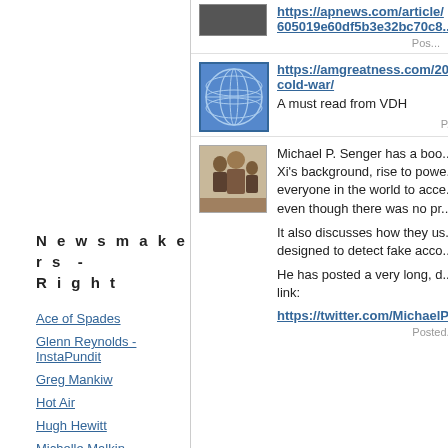https://apnews.com/article/ 605019e60df5b3e32bc70c8...
Newsmakers - Right
Ace of Spades
Glenn Reynolds - InstaPundit
Greg Mankiw
Hot Air
Hugh Hewitt
Michelle Malkin
PoliPundit
Powerline
Red State
Roger Simon
Taegan Goddard's Political Wire
https://amgreatness.com/20... cold-war/
A must read from VDH
Michael P. Senger has a book about Xi's background, rise to power, everyone in the world to access... even though there was no pre...
It also discusses how they used... designed to detect fake accounts...
He has posted a very long, d... link:
https://twitter.com/MichaelP...